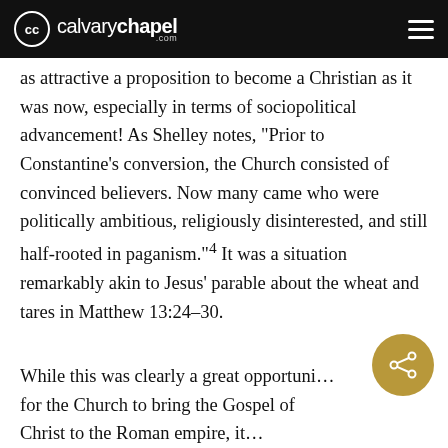calvary chapel .com
as attractive a proposition to become a Christian as it was now, especially in terms of sociopolitical advancement! As Shelley notes, “Prior to Constantine’s conversion, the Church consisted of convinced believers. Now many came who were politically ambitious, religiously disinterested, and still half-rooted in paganism.”⁴ It was a situation remarkably akin to Jesus’ parable about the wheat and tares in Matthew 13:24–30.
While this was clearly a great opportuni… for the Church to bring the Gospel of Christ to the Roman empire, it…